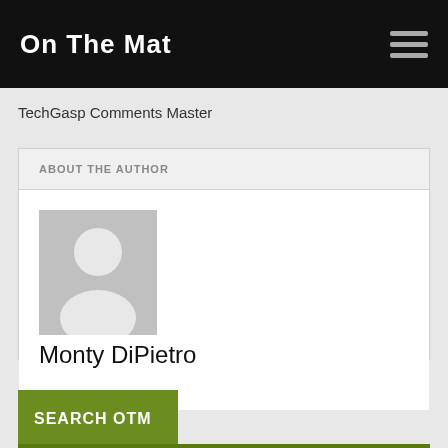On The Mat
TechGasp Comments Master
ABOUT THE AUTHOR
[Figure (illustration): Generic user avatar placeholder: grey rectangle with white silhouette of a person (head circle and body arc)]
Monty DiPietro
SEARCH OTM